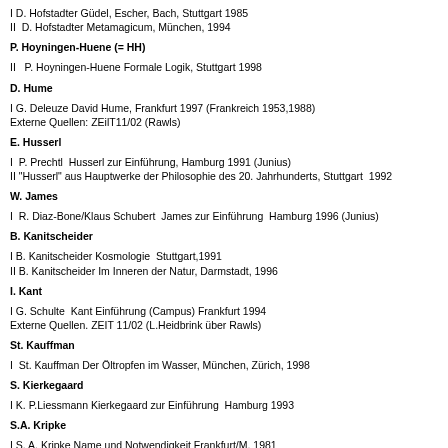I D. Hofstadter Güdel, Escher, Bach, Stuttgart 1985
II  D. Hofstadter Metamagicum, München, 1994
P. Hoyningen-Huene (= HH)
II   P. Hoyningen-Huene Formale Logik, Stuttgart 1998
D. Hume
I G. Deleuze David Hume, Frankfurt 1997 (Frankreich 1953,1988)
Externe Quellen: ZEilT11/02 (Rawls)
E. Husserl
I  P. Prechtl  Husserl zur Einführung, Hamburg 1991 (Junius)
II "Husserl" aus Hauptwerke der Philosophie des 20. Jahrhunderts, Stuttgart  1992
W. James
I  R. Diaz-Bone/Klaus Schubert  James zur Einführung  Hamburg 1996 (Junius)
B. Kanitscheider
I B. Kanitscheider Kosmologie  Stuttgart,1991
II B. Kanitscheider Im Inneren der Natur, Darmstadt, 1996
I. Kant
I G. Schulte  Kant Einführung (Campus) Frankfurt 1994
Externe Quellen. ZEIT 11/02 (L.Heidbrink über Rawls)
St. Kauffman
I  St. Kauffman Der Öltropfen im Wasser, München, Zürich, 1998
S. Kierkegaard
I K. P.Liessmann Kierkegaard zur Einführung  Hamburg 1993
S.A. Kripke
I S. A. Kripke Name und Notwendigkeit Frankfurt/M, 1981
III S. A. Kripke Outline of a theory of Truth  (1975)  aus
R.L. Martin (Hg) Recent Essays on Truth and the Liar Paradox  Clarendon Oxford/NY 1984
Th. Kuhn